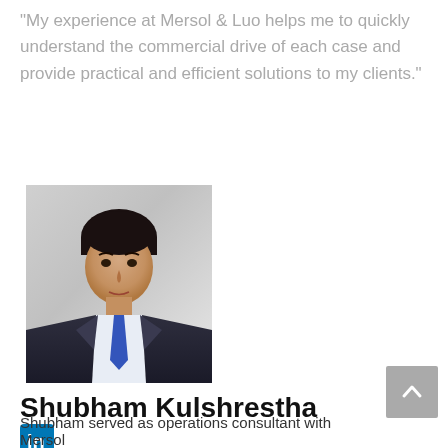“My experience at Mersol & Luo helps me to quickly understand the commercial drive of each case and provide practical and efficient solutions to my clients.”
[Figure (photo): Professional headshot of Shubham Kulshrestha, a young man in a dark suit with blue tie on a white background]
Shubham Kulshrestha
[Figure (logo): LinkedIn social media icon - blue square with 'in' text]
Shubham served as operations consultant with Mersol